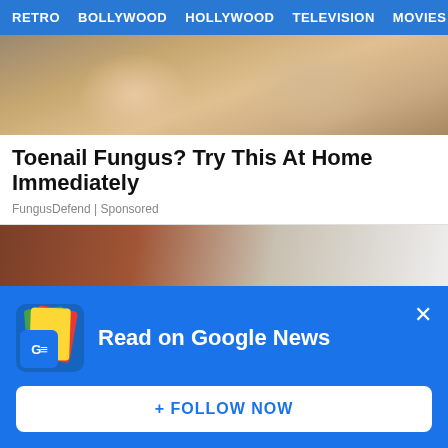RETRO   BOLLYWOOD   HOLLYWOOD   TELEVISION   MOVIES
[Figure (photo): Close-up photo of skin/toenail area with visible texture]
Toenail Fungus? Try This At Home Immediately
FungusDefend | Sponsored
[Figure (photo): Blurred photo showing white and brown surfaces]
[Figure (infographic): Google News follow prompt overlay with logo, 'Read on Google News' heading, close button, and '+ FOLLOW NOW' button]